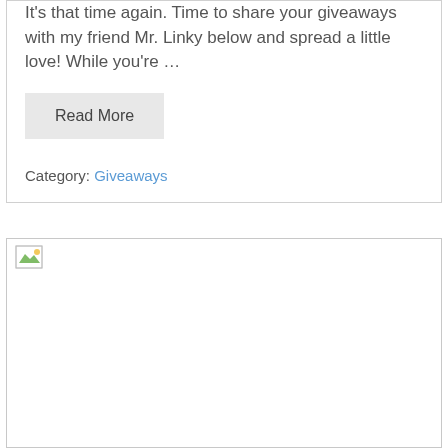It's that time again. Time to share your giveaways with my friend Mr. Linky below and spread a little love! While you're ...
Read More
Category: Giveaways
[Figure (photo): Broken/unloaded image placeholder with small image icon in top-left corner, large empty white area below]